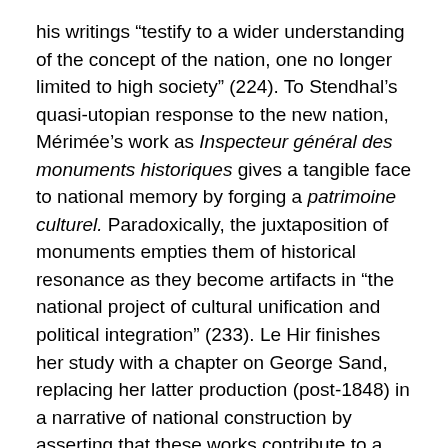his writings “testify to a wider understanding of the concept of the nation, one no longer limited to high society” (224). To Stendhal’s quasi-utopian response to the new nation, Mérimée’s work as Inspecteur général des monuments historiques gives a tangible face to national memory by forging a patrimoine culturel. Paradoxically, the juxtaposition of monuments empties them of historical resonance as they become artifacts in “the national project of cultural unification and political integration” (233). Le Hir finishes her study with a chapter on George Sand, replacing her latter production (post-1848) in a narrative of national construction by asserting that these works contribute to a process of “daily plebiscite” through which different classes achieve consensus.
Marie-Pierre Le Hir’s National Habitus will be of